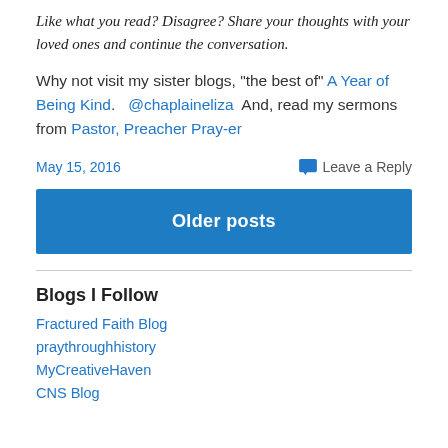Like what you read? Disagree? Share your thoughts with your loved ones and continue the conversation.
Why not visit my sister blogs, “the best of” A Year of Being Kind.   @chaplaineliza  And, read my sermons from Pastor, Preacher Pray-er
May 15, 2016    Leave a Reply
Older posts
Blogs I Follow
Fractured Faith Blog
praythroughhistory
MyCreativeHaven
CNS Blog